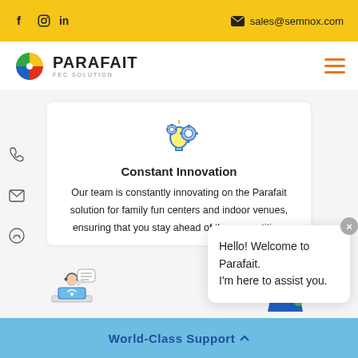f  in  sales@semnox.com
[Figure (logo): Parafait FEC Solution logo with colorful circle icon and text]
[Figure (illustration): Lightbulb with gears innovation icon]
Constant Innovation
Our team is constantly innovating on the Parafait solution for family fun centers and indoor venues, ensuring that you stay ahead of the competition.
[Figure (screenshot): Chat popup: Hello! Welcome to Parafait. I'm here to assist you.]
[Figure (illustration): Customer support agent icon with chat bubble]
[Figure (photo): Photo of a smiling female customer support agent with headset]
World-Class Support